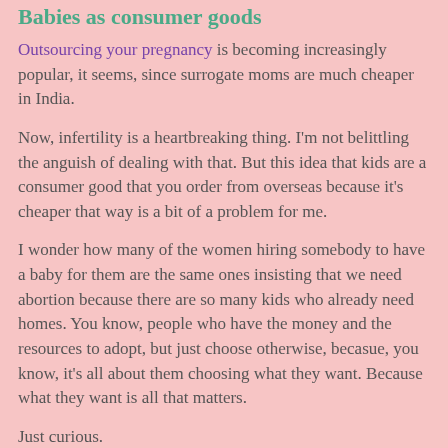Babies as consumer goods
Outsourcing your pregnancy is becoming increasingly popular, it seems, since surrogate moms are much cheaper in India.
Now, infertility is a heartbreaking thing. I'm not belittling the anguish of dealing with that. But this idea that kids are a consumer good that you order from overseas because it's cheaper that way is a bit of a problem for me.
I wonder how many of the women hiring somebody to have a baby for them are the same ones insisting that we need abortion because there are so many kids who already need homes. You know, people who have the money and the resources to adopt, but just choose otherwise, becasue, you know, it's all about them choosing what they want. Because what they want is all that matters.
Just curious.
at 7:40 PM   2 comments: